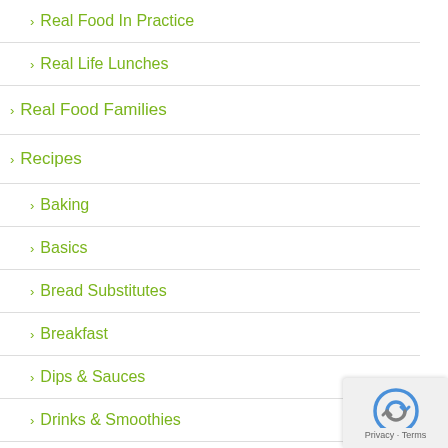> Real Food In Practice
> Real Life Lunches
> Real Food Families
> Recipes
> Baking
> Basics
> Bread Substitutes
> Breakfast
> Dips & Sauces
> Drinks & Smoothies